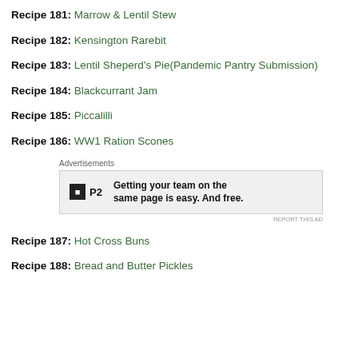Recipe 181: Marrow & Lentil Stew
Recipe 182: Kensington Rarebit
Recipe 183: Lentil Sheperd's Pie(Pandemic Pantry Submission)
Recipe 184: Blackcurrant Jam
Recipe 185: Piccalilli
Recipe 186: WW1 Ration Scones
[Figure (other): Advertisement banner for P2 service: 'Getting your team on the same page is easy. And free.']
Recipe 187: Hot Cross Buns
Recipe 188: Bread and Butter Pickles